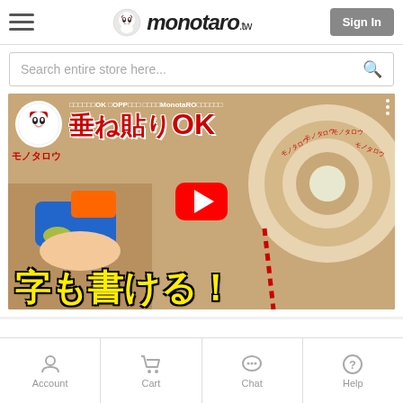monotaro.tw — Sign In
Search entire store here...
[Figure (screenshot): YouTube video thumbnail for MonotaRO OPP tape product video showing tape dispenser, tape roll with MonotaRO branding, Japanese text '垂ね貼りOK' in red and '字も書ける！' in yellow, with YouTube play button overlay and MonotaRO mascot badge.]
Account  Cart  Chat  Help